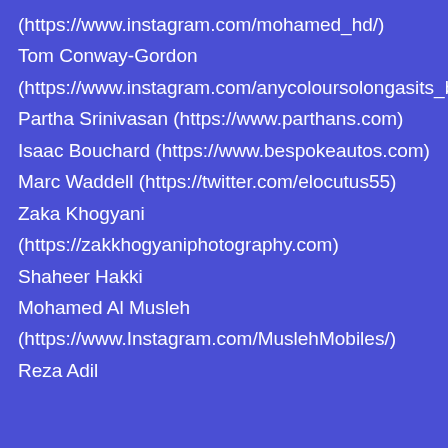(https://www.instagram.com/mohamed_hd/)
Tom Conway-Gordon
(https://www.instagram.com/anycoloursolongasits_black/)
Partha Srinivasan (https://www.parthans.com)
Isaac Bouchard (https://www.bespokeautos.com)
Marc Waddell (https://twitter.com/elocutus55)
Zaka Khogyani
(https://zakkhogyaniphotography.com)
Shaheer Hakki
Mohamed Al Musleh
(https://www.Instagram.com/MuslehMobiles/)
Reza Adil